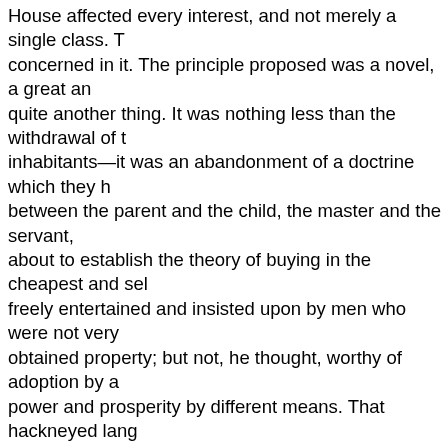House affected every interest, and not merely a single class. T concerned in it. The principle proposed was a novel, a great an quite another thing. It was nothing less than the withdrawal of t inhabitants—it was an abandonment of a doctrine which they h between the parent and the child, the master and the servant, about to establish the theory of buying in the cheapest and sel freely entertained and insisted upon by men who were not very obtained property; but not, he thought, worthy of adoption by a power and prosperity by different means. That hackneyed lang Gentlemen opposite, was not at all applicable—they talked ver no monopoly in the invidious sense which they used the term. engaged in one particular calling, who were anxious to maintai that, so far from discountenancing them, the Ministry was bour individual interest which created public interest; the country ha them to their own advantage. Look, for instance, at the East In in this country to buy and sell as best he might; in that respect too ought to be treated with, but on terms of reciprocity; not the Prussia, giving all the advantage to that kingdom. We ought to was anxious for friendly intercourse with all countries, he could the expense of his own, nor to confer an advantage on one po